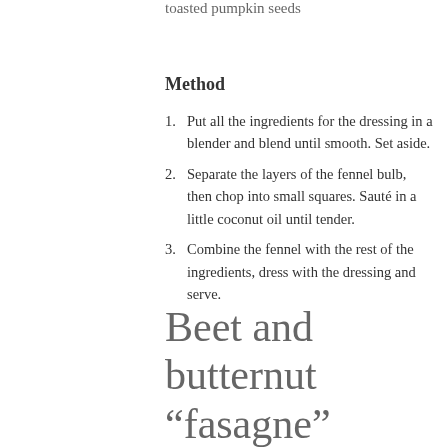toasted pumpkin seeds
Method
Put all the ingredients for the dressing in a blender and blend until smooth. Set aside.
Separate the layers of the fennel bulb, then chop into small squares. Sauté in a little coconut oil until tender.
Combine the fennel with the rest of the ingredients, dress with the dressing and serve.
Beet and butternut “fasagne”